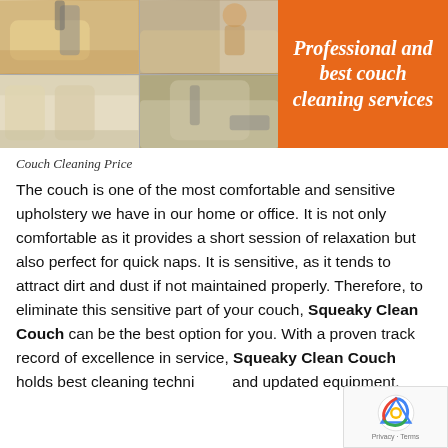[Figure (photo): Collage of couch cleaning service photos with orange panel containing text 'Professional and best couch cleaning services']
Couch Cleaning Price
The couch is one of the most comfortable and sensitive upholstery we have in our home or office. It is not only comfortable as it provides a short session of relaxation but also perfect for quick naps. It is sensitive, as it tends to attract dirt and dust if not maintained properly. Therefore, to eliminate this sensitive part of your couch, Squeaky Clean Couch can be the best option for you. With a proven track record of excellence in service, Squeaky Clean Couch holds best cleaning techniques and updated equipment.